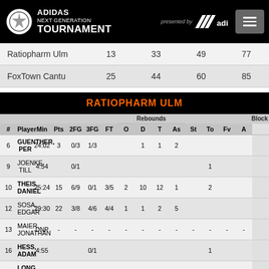ADIDAS NEXT GENERATION TOURNAMENT presented by adidas
| Team | Q1 | Q2 | Q3 | Final |
| --- | --- | --- | --- | --- |
| Ratiopharm Ulm | 13 | 33 | 49 | 77 |
| FoxTown Cantu | 25 | 44 | 60 | 85 |
RATIOPHARM ULM
| # | Player | Min | Pts | 2FG | 3FG | FT | O | D | T | As | St | To | Fv | A |
| --- | --- | --- | --- | --- | --- | --- | --- | --- | --- | --- | --- | --- | --- | --- |
| 6 | GUENTHER, PER | 24:02 | 3 | 0/3 | 1/3 |  |  | 1 | 1 | 2 |  |  |  |  |
| 9 | JOENKE, TILL | 4:54 |  | 0/1 |  |  |  |  |  |  |  | 1 |  |  |
| 10 | THEIS, DANIEL | 25:24 | 15 | 6/9 | 0/1 | 3/5 | 2 | 10 | 12 | 1 |  | 2 |  |  |
| 12 | SOSA, EDGAR | 29:30 | 22 | 3/8 | 4/6 | 4/4 | 1 | 1 | 2 | 5 |  |  |  |  |
| 13 | MAIER, JONATHAN | DNP | - | - | - | - | - | - | - | - | - | - | - | - |
| 16 | HESS, ADAM | 4:55 |  |  | 0/1 |  |  |  |  |  |  | 1 |  |  |
| 20 | LONG, CAMERON | 31:46 | 12 | 2/6 | 1/3 | 5/6 | 2 | 2 | 4 | 3 |  | 2 |  |  |
| 21 | CLYBURN, WILL | 24:53 | 2 | 1/9 | 0/3 |  | 5 | 6 | 11 | 1 | 2 | 2 | 1 | 1 |